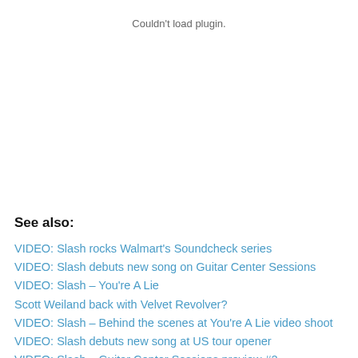Couldn't load plugin.
See also:
VIDEO: Slash rocks Walmart's Soundcheck series
VIDEO: Slash debuts new song on Guitar Center Sessions
VIDEO: Slash – You're A Lie
Scott Weiland back with Velvet Revolver?
VIDEO: Slash – Behind the scenes at You're A Lie video shoot
VIDEO: Slash debuts new song at US tour opener
VIDEO: Slash – Guitar Center Sessions preview #2
VIDEO: Slash – Guitar Center Sessions preview
Slash: No room for drama in my band
VIDEO: Slash interviewed on CBC Radio Canada
VIDEO: Guns N' Roses – Slash says Rock Hall was great